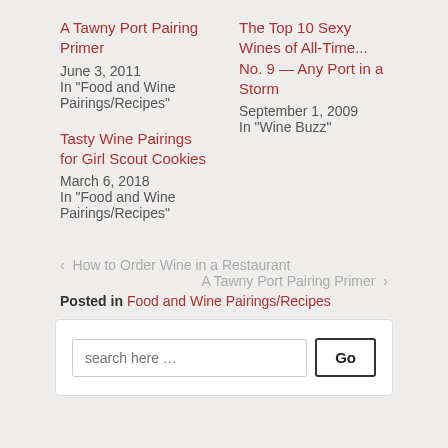A Tawny Port Pairing Primer
June 3, 2011
In "Food and Wine Pairings/Recipes"
The Top 10 Sexy Wines of All-Time... No. 9 — Any Port in a Storm
September 1, 2009
In "Wine Buzz"
Tasty Wine Pairings for Girl Scout Cookies
March 6, 2018
In "Food and Wine Pairings/Recipes"
‹ How to Order Wine in a Restaurant
A Tawny Port Pairing Primer ›
Posted in Food and Wine Pairings/Recipes
search here ...